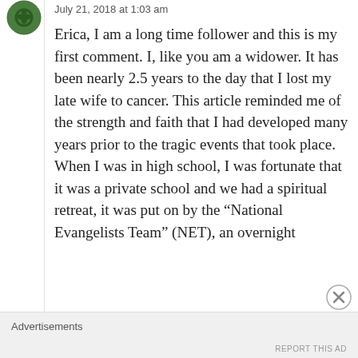[Figure (illustration): User avatar icon - green circular logo with decorative pattern]
July 21, 2018 at 1:03 am
Erica, I am a long time follower and this is my first comment. I, like you am a widower. It has been nearly 2.5 years to the day that I lost my late wife to cancer. This article reminded me of the strength and faith that I had developed many years prior to the tragic events that took place. When I was in high school, I was fortunate that it was a private school and we had a spiritual retreat, it was put on by the “National Evangelists Team” (NET), an overnight
Advertisements
REPORT THIS AD